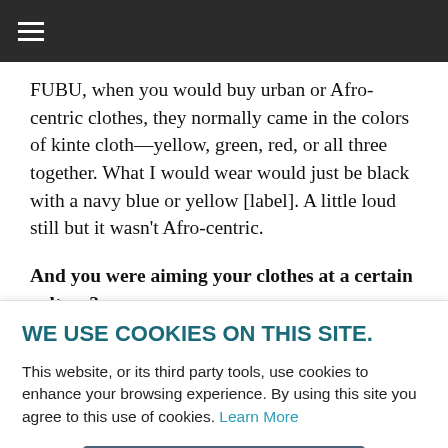≡
FUBU, when you would buy urban or Afro-centric clothes, they normally came in the colors of kinte cloth—yellow, green, red, or all three together. What I would wear would just be black with a navy blue or yellow [label]. A little loud still but it wasn't Afro-centric.
And you were aiming your clothes at a certain culture?
WE USE COOKIES ON THIS SITE.
This website, or its third party tools, use cookies to enhance your browsing experience. By using this site you agree to this use of cookies. Learn More
ACCEPT